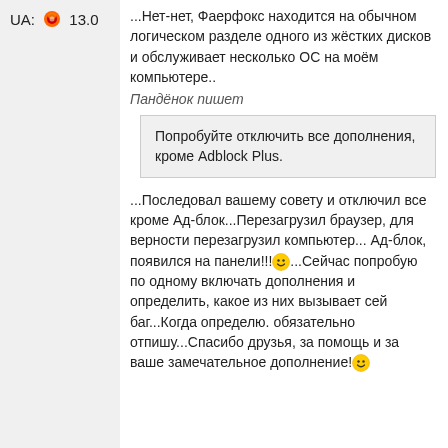UA: 🔥 13.0
...Нет-нет, Фаерфокс находится на обычном логическом разделе одного из жёстких дисков и обслуживает несколько ОС на моём компьютере..
Пандёнок пишет
Попробуйте отключить все дополнения, кроме Adblock Plus.
...Последовал вашему совету и отключил все кроме Ад-блок...Перезагрузил браузер, для верности перезагрузил компьютер... Ад-блок, появился на панели!!!😊...Сейчас попробую по одному включать дополнения и определить, какое из них вызывает сей баг...Когда определю. обязательно отпишу...Спасибо друзья, за помощь и за ваше замечательное дополнение!😊